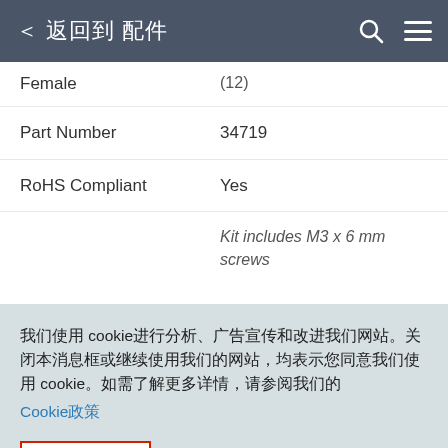< 返回到 配件
| Label | Value |
| --- | --- |
| Female | (12) |
| Part Number | 34719 |
| RoHS Compliant | Yes |
|  | Kit includes M3 x 6 mm screws |
我们使用 cookie进行分析、广告宣传和改进我们网站。关闭本消息框或继续使用我们的网站，均表示您同意我们使用 cookie。如需了解更多详情，请参阅我们的 Cookie政策
ACCEPT